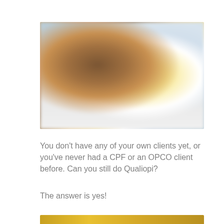[Figure (photo): Blurred photo of a person with warm brown tones and bright light, possibly a woman, with soft-focus background of blue-grey tones suggesting an outdoor or bright indoor setting.]
You don't have any of your own clients yet, or you've never had a CPF or an OPCO client before. Can you still do Qualiopi?
The answer is yes!
[Figure (photo): Partial bottom edge of another photo visible, with golden/yellow tones.]